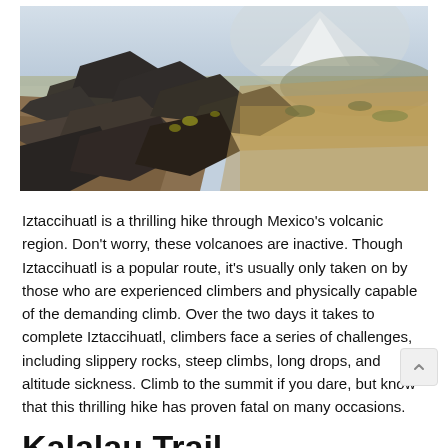[Figure (photo): A mountain landscape showing rocky volcanic terrain in the foreground with dark jagged rocks and sparse vegetation, and a vast valley and snow-capped volcanic peak (Iztaccihuatl) visible in the distance under a hazy blue-grey sky.]
Iztaccihuatl is a thrilling hike through Mexico's volcanic region. Don't worry, these volcanoes are inactive. Though Iztaccihuatl is a popular route, it's usually only taken on by those who are experienced climbers and physically capable of the demanding climb. Over the two days it takes to complete Iztaccihuatl, climbers face a series of challenges, including slippery rocks, steep climbs, long drops, and altitude sickness. Climb to the summit if you dare, but know that this thrilling hike has proven fatal on many occasions.
Kalalau Trail